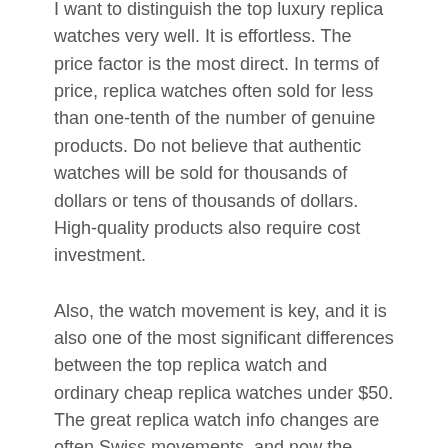I want to distinguish the top luxury replica watches very well. It is effortless. The price factor is the most direct. In terms of price, replica watches often sold for less than one-tenth of the number of genuine products. Do not believe that authentic watches will be sold for thousands of dollars or tens of thousands of dollars. High-quality products also require cost investment.
Also, the watch movement is key, and it is also one of the most significant differences between the top replica watch and ordinary cheap replica watches under $50. The great replica watch info changes are often Swiss movements, and now the ordinary the best replica watches in the world usually choose assembly for the action to control costs — Re-Engraved movement.
Exquisite artistry is now everywhere in the network. Compared with the current ordinary best swiss replica watches, the price will naturally be higher. Different models of replica watches for sale have differences in imitation handicrafts, resulting in differences in rates. The usual imitation watch replicas are much more expensive, but the quality will not leave the buyer with any regrets. From the appearance to the movement, it is meticulous in surprising everyone.